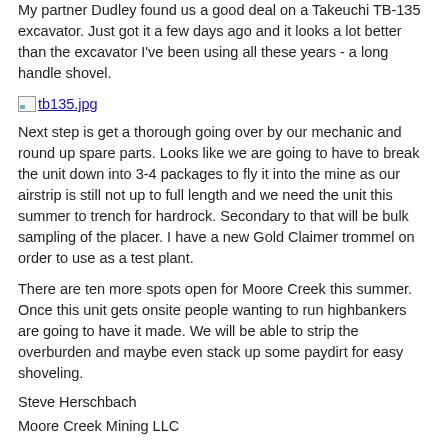My partner Dudley found us a good deal on a Takeuchi TB-135 excavator. Just got it a few days ago and it looks a lot better than the excavator I've been using all these years - a long handle shovel.
[Figure (photo): Image placeholder labeled tb135.jpg]
Next step is get a thorough going over by our mechanic and round up spare parts. Looks like we are going to have to break the unit down into 3-4 packages to fly it into the mine as our airstrip is still not up to full length and we need the unit this summer to trench for hardrock. Secondary to that will be bulk sampling of the placer. I have a new Gold Claimer trommel on order to use as a test plant.
There are ten more spots open for Moore Creek this summer. Once this unit gets onsite people wanting to run highbankers are going to have it made. We will be able to strip the overburden and maybe even stack up some paydirt for easy shoveling.
Steve Herschbach
Moore Creek Mining LLC